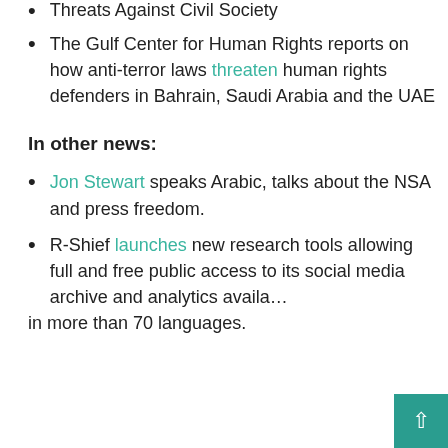Threats Against Civil Society
The Gulf Center for Human Rights reports on how anti-terror laws threaten human rights defenders in Bahrain, Saudi Arabia and the UAE
In other news:
Jon Stewart speaks Arabic, talks about the NSA and press freedom.
R-Shief launches new research tools allowing full and free public access to its social media archive and analytics available in more than 70 languages.